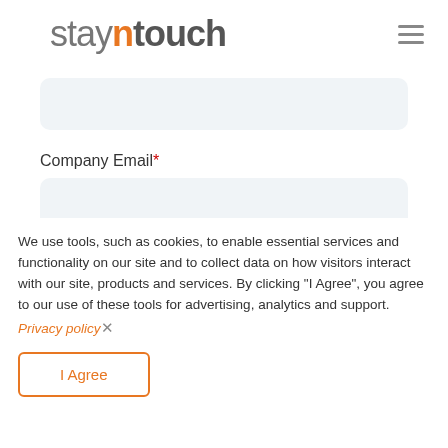[Figure (logo): stayntouch logo — 'stay' in light gray, 'n' in orange, 'touch' in dark gray/bold]
Company Email*
Company name*
We use tools, such as cookies, to enable essential services and functionality on our site and to collect data on how visitors interact with our site, products and services. By clicking "I Agree", you agree to our use of these tools for advertising, analytics and support. Privacy policy
I Agree